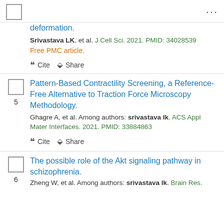...
deformation.
Srivastava LK, et al. J Cell Sci. 2021. PMID: 34028539
Free PMC article.
Pattern-Based Contractility Screening, a Reference-Free Alternative to Traction Force Microscopy Methodology.
Ghagre A, et al. Among authors: srivastava lk. ACS Appl Mater Interfaces. 2021. PMID: 33884863
The possible role of the Akt signaling pathway in schizophrenia.
Zheng W, et al. Among authors: srivastava lk. Brain Res.